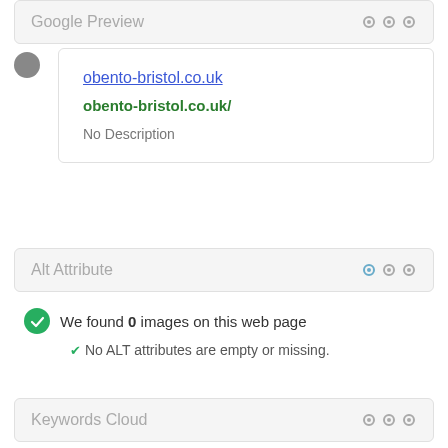Google Preview
obento-bristol.co.uk
obento-bristol.co.uk/
No Description
Alt Attribute
We found 0 images on this web page
No ALT attributes are empty or missing.
Keywords Cloud